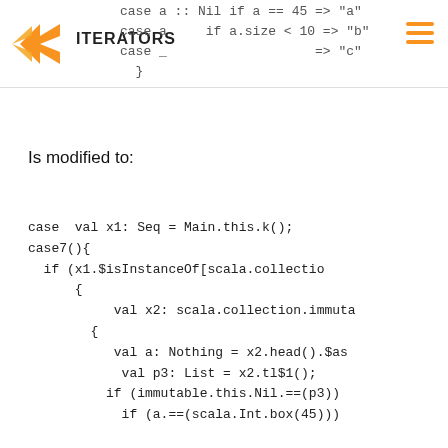ITERATORS
case a :: Nil if a == 45 => "a"
case a     if a.size < 10 => "b"
case _                   => "c"
  }
Is modified to:
case  val x1: Seq = Main.this.k();
case7(){
  if (x1.$isInstanceOf[scala.collectio
      {
           val x2: scala.collection.immuta
        {
           val a: Nothing = x2.head().$as
            val p3: List = x2.tl$1();
          if (immutable.this.Nil.==(p3))
            if (a.==(scala.Int.box(45)))